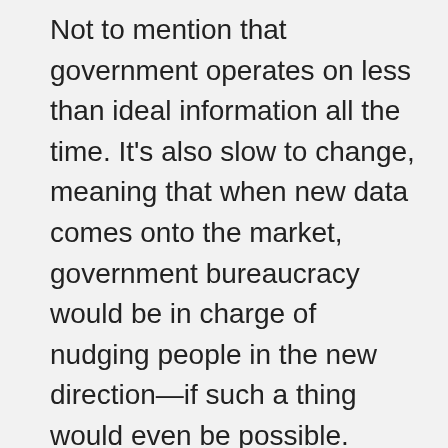Not to mention that government operates on less than ideal information all the time. It's also slow to change, meaning that when new data comes onto the market, government bureaucracy would be in charge of nudging people in the new direction—if such a thing would even be possible.
So, is it justifiable to call it libertarian paternalism? Not unless these concerns are addressed. Additional transparency would help, but even so, libertarian paternalism has the usual problems with government policies: it is the